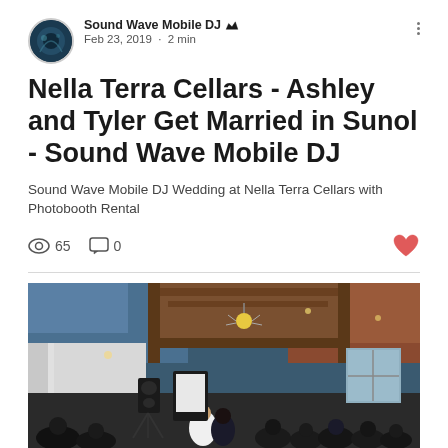Sound Wave Mobile DJ · Feb 23, 2019 · 2 min
Nella Terra Cellars - Ashley and Tyler Get Married in Sunol - Sound Wave Mobile DJ
Sound Wave Mobile DJ Wedding at Nella Terra Cellars with Photobooth Rental
65 views · 0 comments
[Figure (photo): Wedding reception photo inside Nella Terra Cellars venue showing a couple dancing on the floor surrounded by guests, with a wooden beam ceiling, white drapes, a sputnik-style chandelier, and a DJ speaker setup visible.]